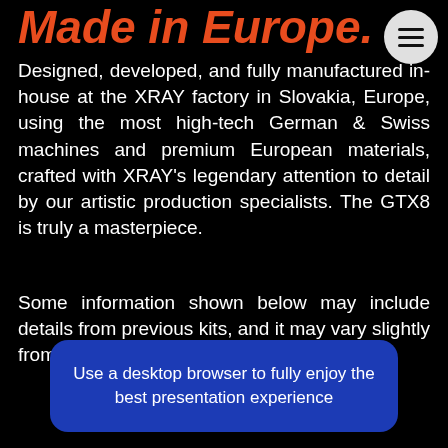Made in Europe.
Designed, developed, and fully manufactured in-house at the XRAY factory in Slovakia, Europe, using the most high-tech German & Swiss machines and premium European materials, crafted with XRAY's legendary attention to detail by our artistic production specialists. The GTX8 is truly a masterpiece.
Some information shown below may include details from previous kits, and it may vary slightly from current kit specifications.
Use a desktop browser to fully enjoy the best presentation experience